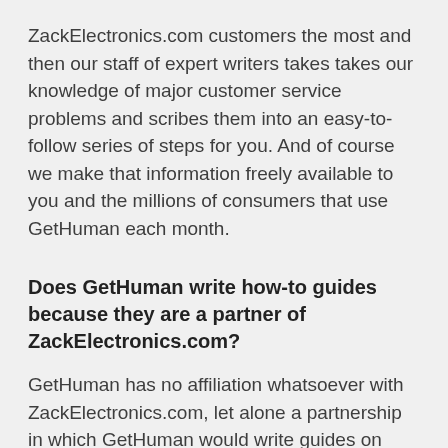ZackElectronics.com customers the most and then our staff of expert writers takes takes our knowledge of major customer service problems and scribes them into an easy-to-follow series of steps for you. And of course we make that information freely available to you and the millions of consumers that use GetHuman each month.
Does GetHuman write how-to guides because they are a partner of ZackElectronics.com?
GetHuman has no affiliation whatsoever with ZackElectronics.com, let alone a partnership in which GetHuman would write guides on behalf of another institution. Rather, GetHuman has been helping customers solve their support problems for over a